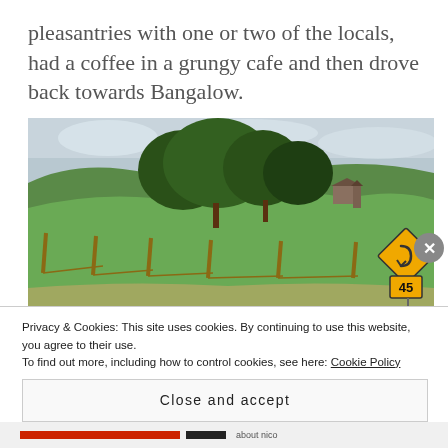pleasantries with one or two of the locals, had a coffee in a grungy cafe and then drove back towards Bangalow.
[Figure (photo): Rural road scene with green rolling hills, fence posts along a paddock, large trees on the hillside, a small building/shed, and a yellow chevron warning sign with 45 speed limit sign on the right side of the road.]
Privacy & Cookies: This site uses cookies. By continuing to use this website, you agree to their use.
To find out more, including how to control cookies, see here: Cookie Policy
Close and accept